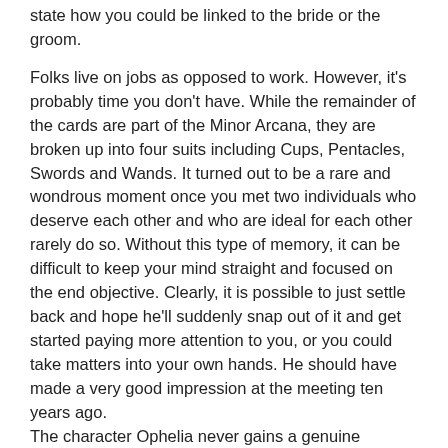state how you could be linked to the bride or the groom.
Folks live on jobs as opposed to work. However, it's probably time you don't have. While the remainder of the cards are part of the Minor Arcana, they are broken up into four suits including Cups, Pentacles, Swords and Wands. It turned out to be a rare and wondrous moment once you met two individuals who deserve each other and who are ideal for each other rarely do so. Without this type of memory, it can be difficult to keep your mind straight and focused on the end objective. Clearly, it is possible to just settle back and hope he'll suddenly snap out of it and get started paying more attention to you, or you could take matters into your own hands. He should have made a very good impression at the meeting ten years ago.
The character Ophelia never gains a genuine identity, she's affected by the men in her life. Stories ought to be solved in the organization of friends or acquaintances. The story doesn't end there. To play the game, you want some of the stories out there. The author doesn't have a self identity.
Tarot reading is about deriving the significance of each card bearing in mind the context in which it's dealing. There are a lot of people that are unaware about tarot cards. Therefore, there are